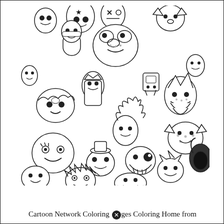[Figure (illustration): A dense black-and-white coloring page illustration featuring a large crowd of cartoon characters from Adventure Time and other Cartoon Network shows, including blob-like creatures, ghosts, cats, humanoid characters, and various fantasy/cartoon beings, all drawn in an outlined doodle style suitable for coloring.]
Cartoon Network Coloring Pages Coloring Home from